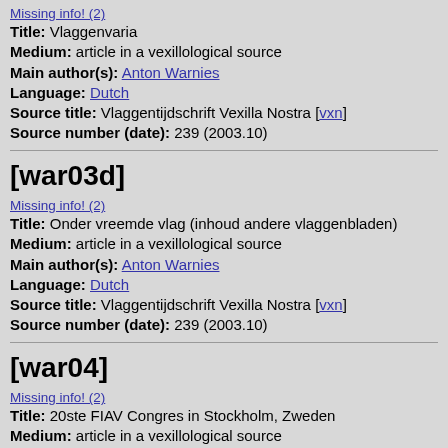Missing info! (2)
Title: Vlaggenvaria
Medium: article in a vexillological source
Main author(s): Anton Warnies
Language: Dutch
Source title: Vlaggentijdschrift Vexilla Nostra [vxn]
Source number (date): 239 (2003.10)
[war03d]
Missing info! (2)
Title: Onder vreemde vlag (inhoud andere vlaggenbladen)
Medium: article in a vexillological source
Main author(s): Anton Warnies
Language: Dutch
Source title: Vlaggentijdschrift Vexilla Nostra [vxn]
Source number (date): 239 (2003.10)
[war04]
Missing info! (2)
Title: 20ste FIAV Congres in Stockholm, Zweden
Medium: article in a vexillological source